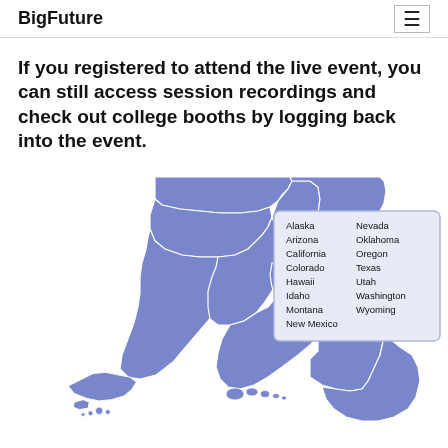BigFuture
If you registered to attend the live event, you can still access session recordings and check out college booths by logging back into the event.
[Figure (map): Map of western United States states highlighted in blue/purple, including Alaska and Hawaii, with a legend listing: Alaska, Arizona, California, Colorado, Hawaii, Idaho, Montana, New Mexico, Nevada, Oklahoma, Oregon, Texas, Utah, Washington, Wyoming]